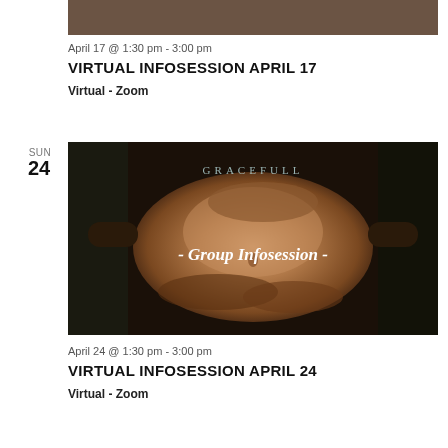[Figure (photo): Top portion of a maternity photo showing hands on a pregnant belly, cropped at the top of the page]
April 17 @ 1:30 pm - 3:00 pm
VIRTUAL INFOSESSION APRIL 17
Virtual - Zoom
[Figure (photo): A maternity photo showing hands cradling a pregnant belly outdoors, with GRACEFULL text overlay at top and '- Group Infosession -' text overlay in center, dark moody aesthetic]
April 24 @ 1:30 pm - 3:00 pm
VIRTUAL INFOSESSION APRIL 24
Virtual - Zoom